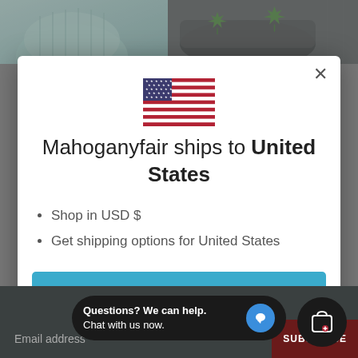[Figure (screenshot): Background showing product images: teal knit gloves on left, dark hat with cannabis leaf graphic on right]
[Figure (screenshot): Modal dialog with US flag icon, shipping destination notice, bullet points, and Shop now button]
Mahoganyfair ships to United States
Shop in USD $
Get shipping options for United States
Shop now
Questions? We can help. Chat with us now.
Email address
SUBSCRIBE